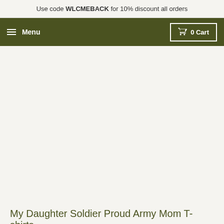Use code WLCMEBACK for 10% discount all orders
Menu   0 Cart
My Daughter Soldier Proud Army Mom T-shirts